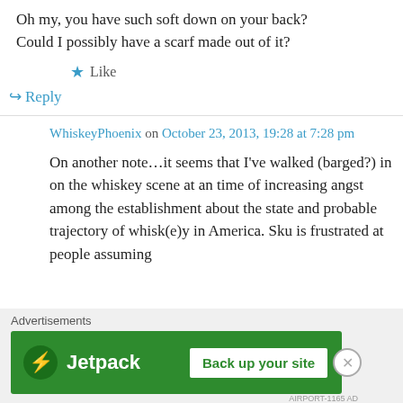Oh my, you have such soft down on your back? Could I possibly have a scarf made out of it?
★ Like
↪ Reply
WhiskeyPhoenix on October 23, 2013, 19:28 at 7:28 pm
On another note…it seems that I've walked (barged?) in on the whiskey scene at an time of increasing angst among the establishment about the state and probable trajectory of whisk(e)y in America. Sku is frustrated at people assuming
Advertisements
[Figure (screenshot): Jetpack advertisement banner with green background, Jetpack logo, and 'Back up your site' button]